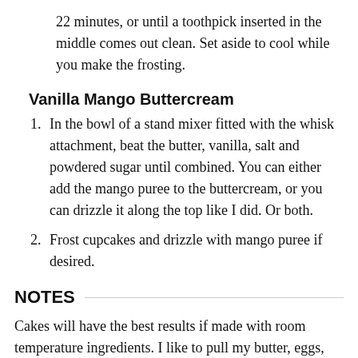22 minutes, or until a toothpick inserted in the middle comes out clean. Set aside to cool while you make the frosting.
Vanilla Mango Buttercream
In the bowl of a stand mixer fitted with the whisk attachment, beat the butter, vanilla, salt and powdered sugar until combined. You can either add the mango puree to the buttercream, or you can drizzle it along the top like I did. Or both.
Frost cupcakes and drizzle with mango puree if desired.
NOTES
Cakes will have the best results if made with room temperature ingredients. I like to pull my butter, eggs, buttermilk, and mango out of the fridge an hour or two before I start baking.